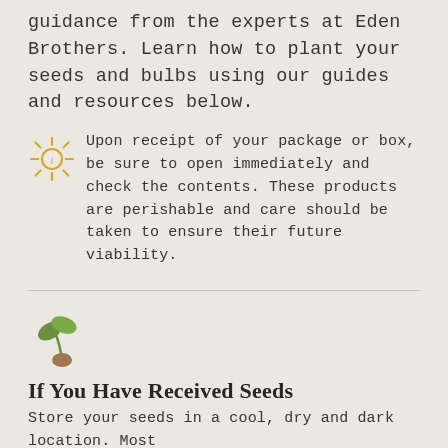guidance from the experts at Eden Brothers. Learn how to plant your seeds and bulbs using our guides and resources below.
Upon receipt of your package or box, be sure to open immediately and check the contents. These products are perishable and care should be taken to ensure their future viability.
[Figure (illustration): Seedling sprout icon with two green leaves and a brown seed/root]
If You Have Received Seeds
Store your seeds in a cool, dry and dark location. Most